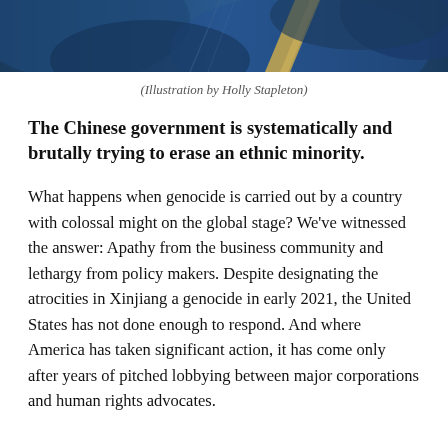[Figure (illustration): Decorative illustration with blue abstract shapes and a tan/gold diagonal element — cropped header image by Holly Stapleton]
(Illustration by Holly Stapleton)
The Chinese government is systematically and brutally trying to erase an ethnic minority.
What happens when genocide is carried out by a country with colossal might on the global stage? We’ve witnessed the answer: Apathy from the business community and lethargy from policy makers. Despite designating the atrocities in Xinjiang a genocide in early 2021, the United States has not done enough to respond. And where America has taken significant action, it has come only after years of pitched lobbying between major corporations and human rights advocates.